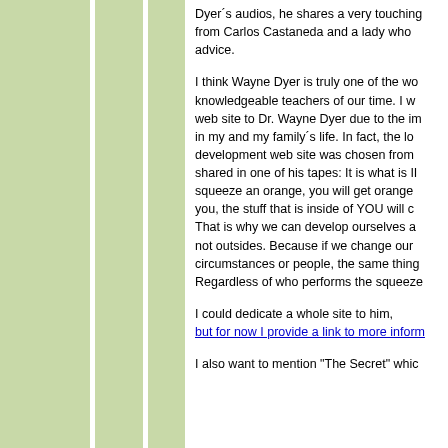Dyer´s audios, he shares a very touching from Carlos Castaneda and a lady who advice.
I think Wayne Dyer is truly one of the most knowledgeable teachers of our time. I would dedicate a web site to Dr. Wayne Dyer due to the impact he has had in my and my family´s life. In fact, the logo of the personal development web site was chosen from a concept he shared in one of his tapes: It is what is INSIDE. When you squeeze an orange, you will get orange juice. When life squeezes you, the stuff that is inside of YOU will come out. That is why we can develop ourselves and start from the insides not outsides. Because if we change our outsides, either circumstances or people, the same thing will happen again. Regardless of who performs the squeeze.
I could dedicate a whole site to him, but for now I provide a link to more information
I also want to mention "The Secret" which